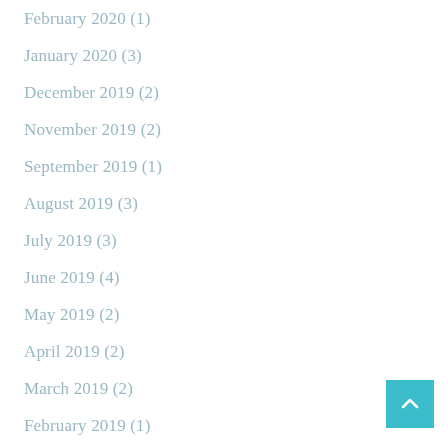February 2020 (1)
January 2020 (3)
December 2019 (2)
November 2019 (2)
September 2019 (1)
August 2019 (3)
July 2019 (3)
June 2019 (4)
May 2019 (2)
April 2019 (2)
March 2019 (2)
February 2019 (1)